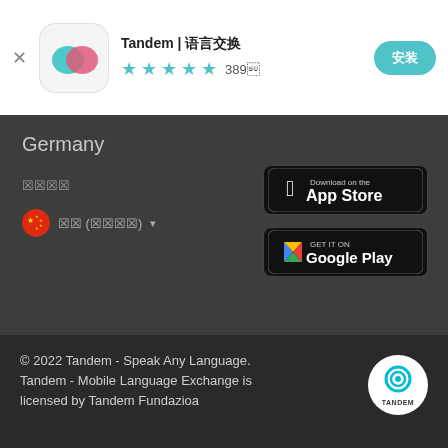Tandem | 언어교환 친구 찾기
★★★★★ 389개
Germany
언어 추가
[Figure (screenshot): App Store download button]
한국어 (대한민국)
[Figure (screenshot): Google Play download button]
© 2022 Tandem - Speak Any Language. Tandem - Mobile Language Exchange is licensed by Tandem Fundazioa